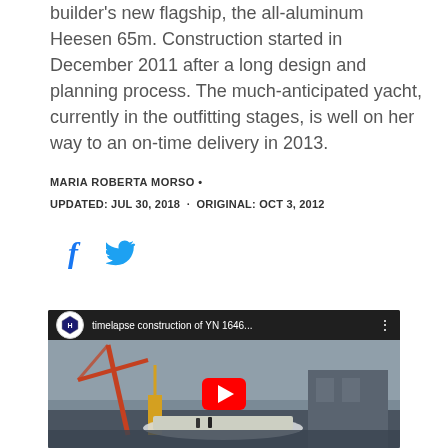builder's new flagship, the all-aluminum Heesen 65m. Construction started in December 2011 after a long design and planning process. The much-anticipated yacht, currently in the outfitting stages, is well on her way to an on-time delivery in 2013.
MARIA ROBERTA MORSO •
UPDATED: JUL 30, 2018 · ORIGINAL: OCT 3, 2012
[Figure (screenshot): YouTube video thumbnail showing timelapse construction of YN 1646 with Heesen logo badge and red play button, showing a shipyard scene with cranes and a vessel under construction]